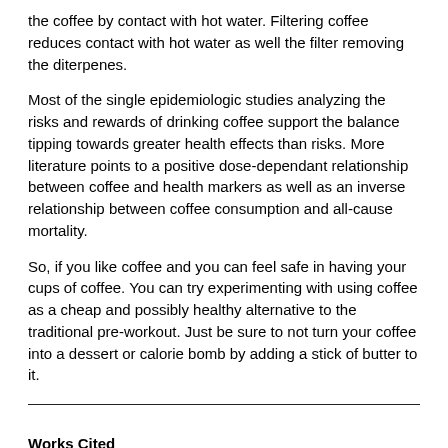the coffee by contact with hot water. Filtering coffee reduces contact with hot water as well the filter removing the diterpenes.
Most of the single epidemiologic studies analyzing the risks and rewards of drinking coffee support the balance tipping towards greater health effects than risks. More literature points to a positive dose-dependant relationship between coffee and health markers as well as an inverse relationship between coffee consumption and all-cause mortality.
So, if you like coffee and you can feel safe in having your cups of coffee. You can try experimenting with using coffee as a cheap and possibly healthy alternative to the traditional pre-workout. Just be sure to not turn your coffee into a dessert or calorie bomb by adding a stick of butter to it.
Works Cited
1] Bakuradze, Tamara, Gina Alejandra Montoya Parra, Annett